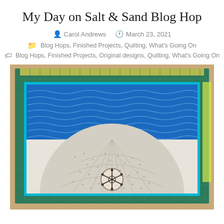My Day on Salt & Sand Blog Hop
Carol Andrews   March 23, 2021
Blog Hops, Finished Projects, Quilting, What's Going On
Blog Hops, Finished Projects, Original designs, Quilting, What's Going On
[Figure (photo): A quilted table runner or small quilt on a green cutting mat. The quilt features blue ocean wave fabric on the top portion and a large sandy-beige semicircle with a sand dollar design in the center bottom. The quilt has teal/turquoise binding.]